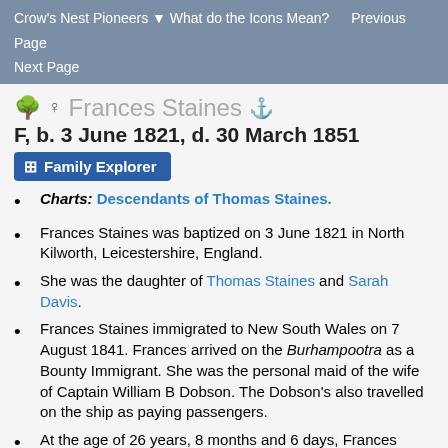Crow's Nest Pioneers  What do the Icons Mean?  Previous Page  Next Page
Frances Staines
F, b. 3 June 1821, d. 30 March 1851
Charts: Descendants of Thomas Staines.
Frances Staines was baptized on 3 June 1821 in North Kilworth, Leicestershire, England.
She was the daughter of Thomas Staines and Sarah Davis.
Frances Staines immigrated to New South Wales on 7 August 1841. Frances arrived on the Burhampootra as a Bounty Immigrant. She was the personal maid of the wife of Captain William B Dobson. The Dobson's also travelled on the ship as paying passengers.
At the age of 26 years, 8 months and 6 days, Frances Staines married William John Noblett on 9 February 1848 in New South Wales. Frances and William were married by special license in the Parish of St Andrews in the county of